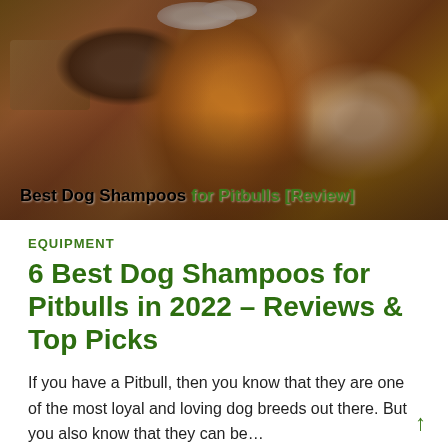[Figure (photo): A wet dog (appears to be a Border Collie mix) being bathed with shampoo foam on its head, with a person's hands visible. The photo has the text 'Best Dog Shampoos for Pitbulls [Review]' overlaid at the bottom.]
EQUIPMENT
6 Best Dog Shampoos for Pitbulls in 2022 – Reviews & Top Picks
If you have a Pitbull, then you know that they are one of the most loyal and loving dog breeds out there. But you also know that they can be…